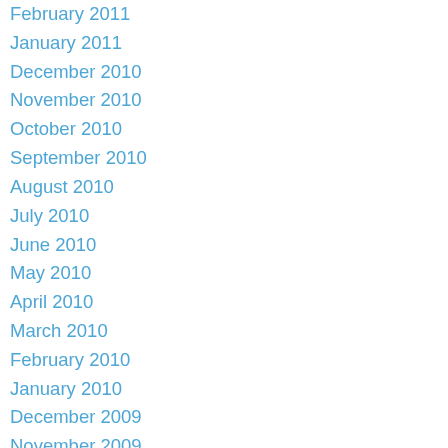February 2011
January 2011
December 2010
November 2010
October 2010
September 2010
August 2010
July 2010
June 2010
May 2010
April 2010
March 2010
February 2010
January 2010
December 2009
November 2009
October 2009
September 2009
August 2009
July 2009
June 2009